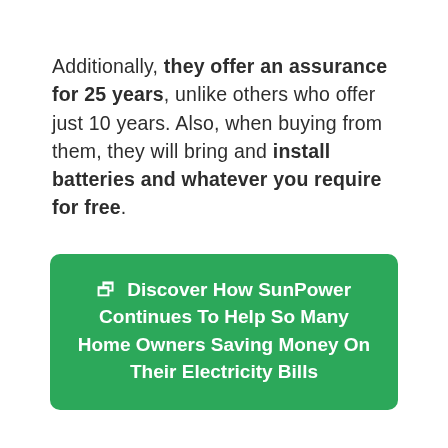Additionally, they offer an assurance for 25 years, unlike others who offer just 10 years. Also, when buying from them, they will bring and install batteries and whatever you require for free.
Discover How SunPower Continues To Help So Many Home Owners Saving Money On Their Electricity Bills